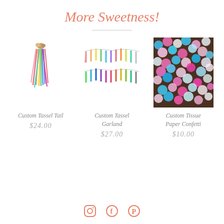More Sweetness!
[Figure (illustration): Custom Tassel Tail product photo - colorful tassel]
Custom Tassel Tail
$24.00
[Figure (illustration): Custom Tassel Garland product photo - rows of colorful tassels on string]
Custom Tassel Garland
$27.00
[Figure (photo): Custom Tissue Paper Confetti product photo - colorful circle confetti pieces]
Custom Tissue Paper Confetti
$10.00
Social media icons: Instagram, Facebook, Pinterest